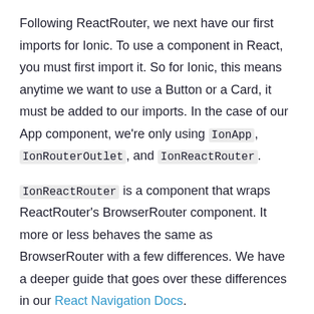Following ReactRouter, we next have our first imports for Ionic. To use a component in React, you must first import it. So for Ionic, this means anytime we want to use a Button or a Card, it must be added to our imports. In the case of our App component, we're only using IonApp, IonRouterOutlet, and IonReactRouter.
IonReactRouter is a component that wraps ReactRouter's BrowserRouter component. It more or less behaves the same as BrowserRouter with a few differences. We have a deeper guide that goes over these differences in our React Navigation Docs.